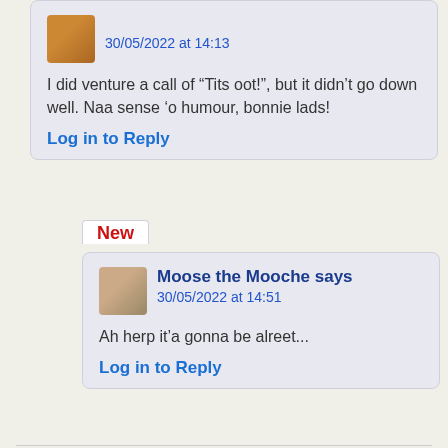30/05/2022 at 14:13
I did venture a call of “Tits oot!”, but it didn’t go down well. Naa sense ‘o humour, bonnie lads!
Log in to Reply
New
Moose the Mooche says
30/05/2022 at 14:51
Ah herp it’a gonna be alreet...
Log in to Reply